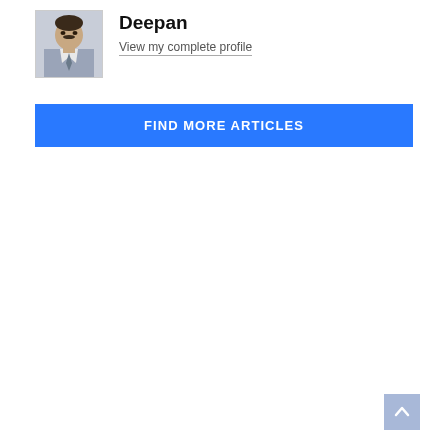[Figure (photo): Profile photo of a man in a shirt and tie]
Deepan
View my complete profile
FIND MORE ARTICLES